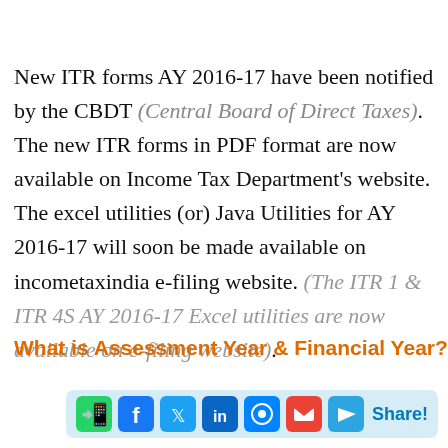New ITR forms AY 2016-17 have been notified by the CBDT (Central Board of Direct Taxes). The new ITR forms in PDF format are now available on Income Tax Department's website. The excel utilities (or) Java Utilities for AY 2016-17 will soon be made available on incometaxindia e-filing website. (The ITR 1 & ITR 4S AY 2016-17 Excel utilities are now available on e-filing website).
What is Assessment Year & Financial Year?